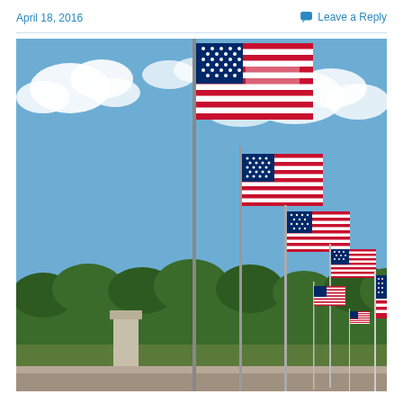April 18, 2016
Leave a Reply
[Figure (photo): Photograph of multiple large American flags on tall poles waving in the wind against a partly cloudy blue sky. Trees and a stone monument visible in the background, with more flags receding into the distance.]